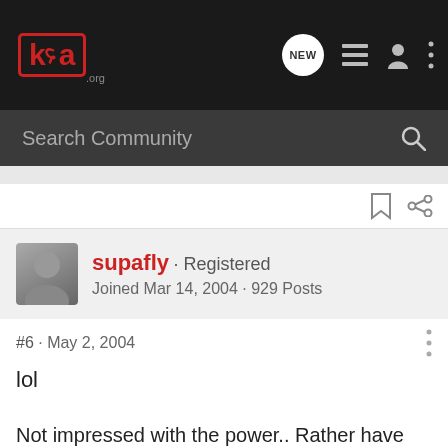k20a.org forum navigation bar with logo, NEW button, list icon, user icon, menu dots
Search Community
supafly · Registered
Joined Mar 14, 2004 · 929 Posts
#6 · May 2, 2004
lol
Not impressed with the power.. Rather have the R stock.
[SIGPIC]http://www.k20a.org/upload/megameet..jpg[/SIGPIC]